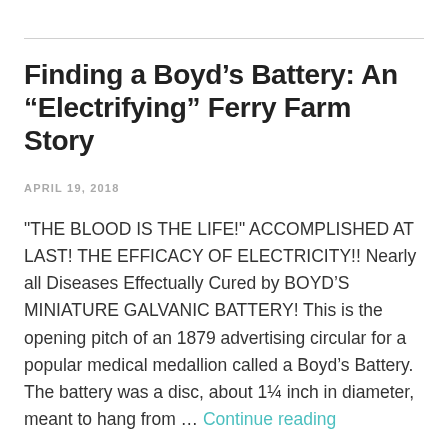Finding a Boyd’s Battery: An “Electrifying” Ferry Farm Story
APRIL 19, 2018
"THE BLOOD IS THE LIFE!" ACCOMPLISHED AT LAST! THE EFFICACY OF ELECTRICITY!! Nearly all Diseases Effectually Cured by BOYD’S MINIATURE GALVANIC BATTERY! This is the opening pitch of an 1879 advertising circular for a popular medical medallion called a Boyd’s Battery. The battery was a disc, about 1¼ inch in diameter, meant to hang from … Continue reading